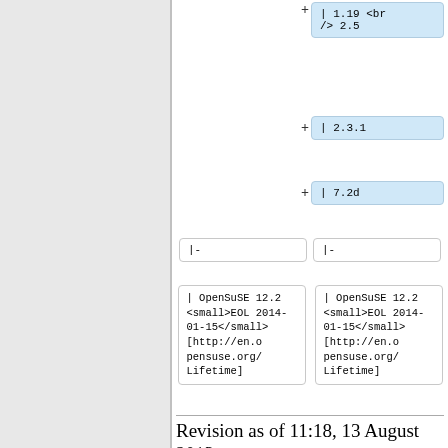+ | 1.19 <br /> 2.5
+ | 2.3.1
+ | 7.2d
|- | |-
| OpenSuSE 12.2 <small>EOL 2014-01-15</small> [http://en.opensuse.org/Lifetime]
| OpenSuSE 12.2 <small>EOL 2014-01-15</small> [http://en.opensuse.org/Lifetime]
Revision as of 11:18, 13 August 2013
Contents [hide]